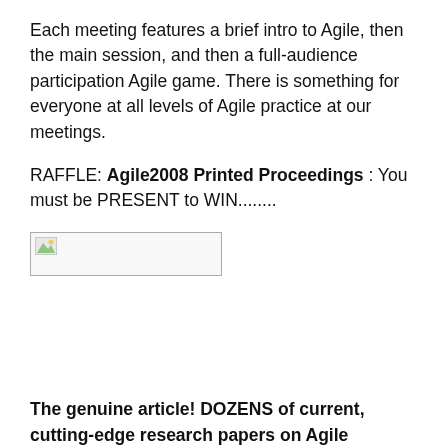Each meeting features a brief intro to Agile, then the main session, and then a full-audience participation Agile game. There is something for everyone at all levels of Agile practice at our meetings.
RAFFLE: Agile2008 Printed Proceedings : You must be PRESENT to WIN........
[Figure (other): Broken/missing image placeholder with small icon in top-left corner]
The genuine article! DOZENS of current, cutting-edge research papers on Agile